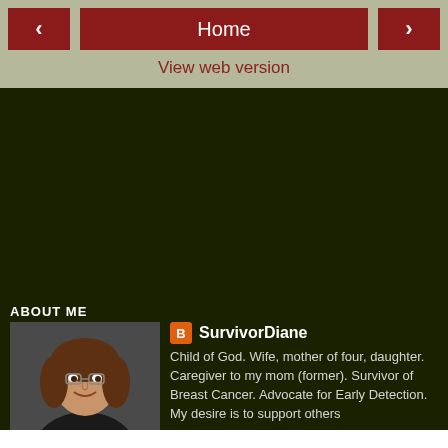< Home >
View web version
[Figure (photo): Large dark green background area, likely a banner or image placeholder on a blog page]
ABOUT ME
[Figure (photo): Profile photo of a woman with short brown hair, smiling, wearing dark clothing]
SurvivorDiane
Child of God. Wife, mother of four, daughter. Caregiver to my mom (former). Survivor of Breast Cancer. Advocate for Early Detection. My desire is to support others